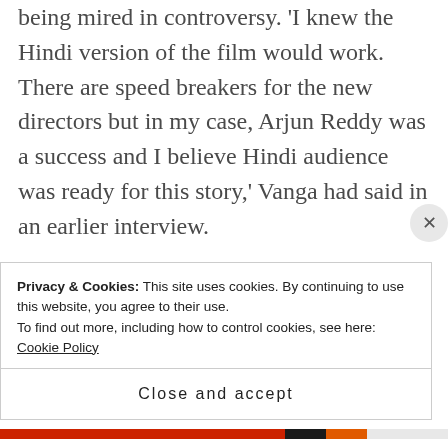being mired in controversy. 'I knew the Hindi version of the film would work. There are speed breakers for the new directors but in my case, Arjun Reddy was a success and I believe Hindi audience was ready for this story,' Vanga had said in an earlier interview.
However, Anjum believes that it is the content more than the tropes that get audience to the theatres. 'I primarily dedicate the success of a film to the script and then the director who
Privacy & Cookies: This site uses cookies. By continuing to use this website, you agree to their use.
To find out more, including how to control cookies, see here:
Cookie Policy
Close and accept